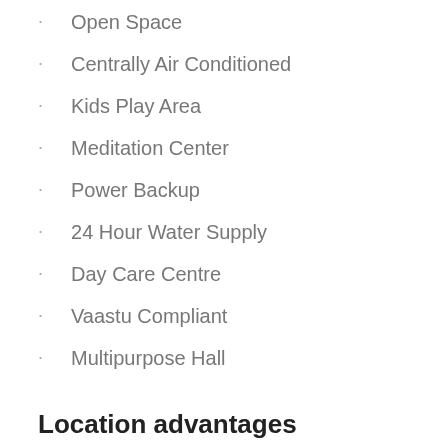Open Space
Centrally Air Conditioned
Kids Play Area
Meditation Center
Power Backup
24 Hour Water Supply
Day Care Centre
Vaastu Compliant
Multipurpose Hall
Location advantages